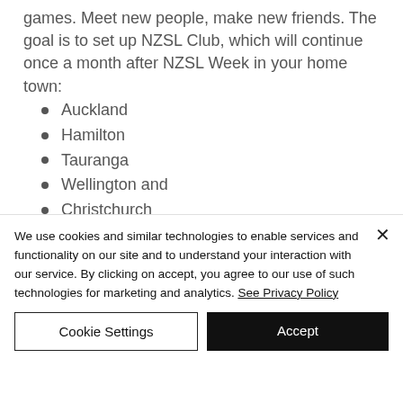games. Meet new people, make new friends. The goal is to set up NZSL Club, which will continue once a month after NZSL Week in your home town:
Auckland
Hamilton
Tauranga
Wellington and
Christchurch
We use cookies and similar technologies to enable services and functionality on our site and to understand your interaction with our service. By clicking on accept, you agree to our use of such technologies for marketing and analytics. See Privacy Policy